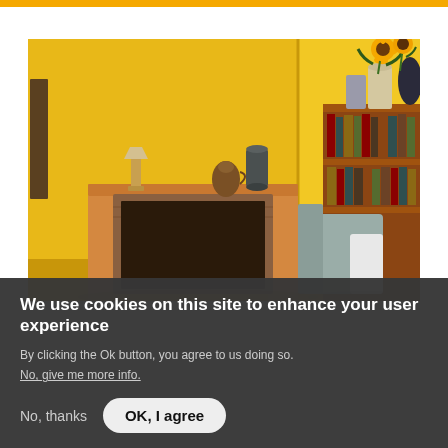[Figure (photo): A living room with bright yellow walls, a wooden fireplace mantel with decorative pitchers/jugs on top, a lamp, a wooden bookcase filled with books on the right, a vase with sunflowers, and a gray armchair. The overall color scheme is warm yellow/golden.]
We use cookies on this site to enhance your user experience
By clicking the Ok button, you agree to us doing so.
No, give me more info.
No, thanks
OK, I agree